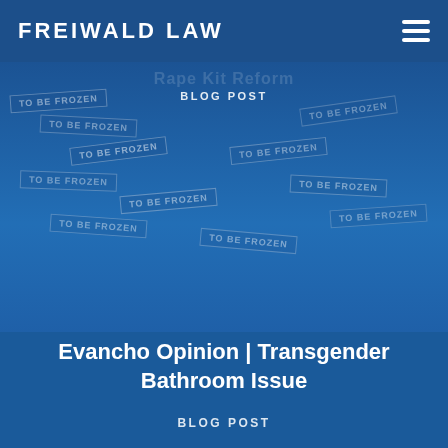FREIWALD LAW
[Figure (photo): Background photo of frozen biological sample bags labeled 'TO BE FROZEN', overlaid with a blue tint. Used as hero image for a law firm blog post.]
BLOG POST
Evancho Opinion | Transgender Bathroom Issue
BLOG POST